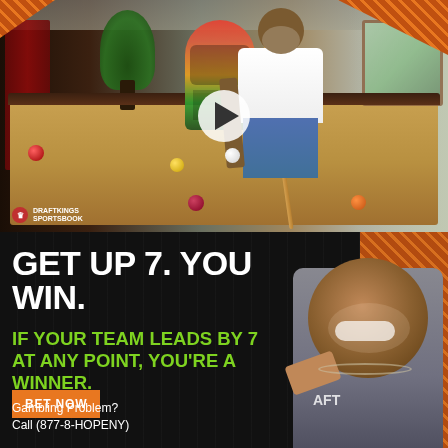[Figure (photo): Video thumbnail showing a man in a white t-shirt playing pool/billiards in a stylish game room with a jukebox, plants, and vintage decor. DraftKings Sportsbook logo visible in bottom left. Play button overlay in center.]
GET UP 7. YOU WIN.
IF YOUR TEAM LEADS BY 7 AT ANY POINT, YOU'RE A WINNER.
BET NOW
Gambling Problem? Call (877-8-HOPENY)